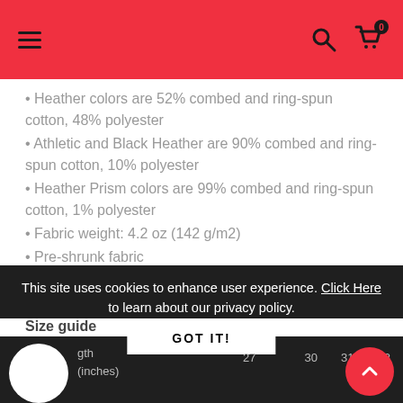Navigation header with hamburger menu, search, and cart icons
Heather colors are 52% combed and ring-spun cotton, 48% polyester
Athletic and Black Heather are 90% combed and ring-spun cotton, 10% polyester
Heather Prism colors are 99% combed and ring-spun cotton, 1% polyester
Fabric weight: 4.2 oz (142 g/m2)
Pre-shrunk fabric
Shoulder-to-shoulder taping
Side-seamed
Size guide
This site uses cookies to enhance user experience. Click Here to learn about our privacy policy.
GOT IT!